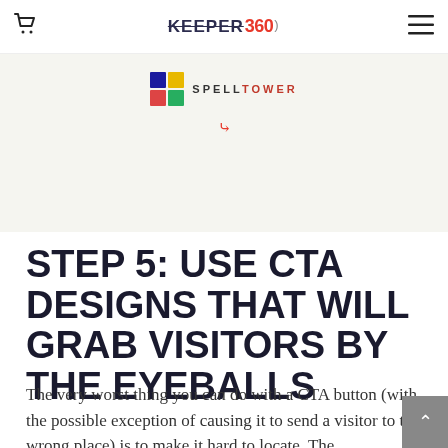KEEPER360 [logo] | SPELLTOWER [ad banner]
[Figure (logo): KEEPER360 website navigation bar with cart icon on left, KEEPER360 logo in center, hamburger menu on right. Below is an advertisement banner for SPELLTOWER app with colorful grid icon and double chevron down arrow in red.]
STEP 5: USE CTA DESIGNS THAT WILL GRAB VISITORS BY THE EYEBALLS
The very worst thing you can do with a CTA button (with the possible exception of causing it to send a visitor to the wrong place) is to make it hard to locate. The